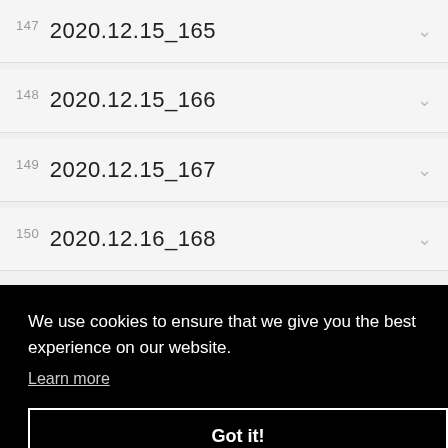147 2020.12.15_165
148 2020.12.15_166
149 2020.12.15_167
150 2020.12.16_168
We use cookies to ensure that we give you the best experience on our website. Learn more
Got it!
2020.12.17_172